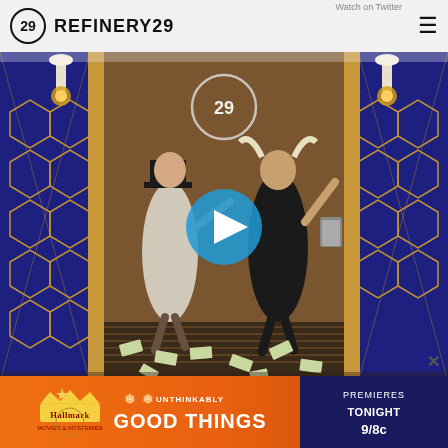REFINERY29
[Figure (screenshot): Video thumbnail showing two people dancing in an elevator with a Refinery29 logo neon sign. One person wears a top hat and silver dress, the other wears a viking horn hat and black outfit. Money scattered on the floor. Blue play button overlay in center.]
A rep for Miranda did not immediately confirm after Refinery29's theory...
[Figure (other): Hallmark Movies & Mysteries advertisement banner: 'UNTHINKABLY GOOD THINGS — PREMIERES TONIGHT 9/8c']